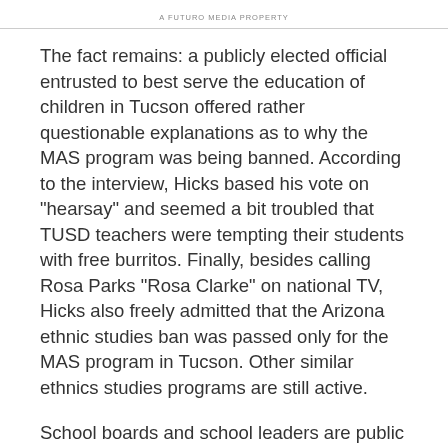A FUTURO MEDIA PROPERTY
The fact remains: a publicly elected official entrusted to best serve the education of children in Tucson offered rather questionable explanations as to why the MAS program was being banned. According to the interview, Hicks based his vote on "hearsay" and seemed a bit troubled that TUSD teachers were tempting their students with free burritos. Finally, besides calling Rosa Parks "Rosa Clarke" on national TV, Hicks also freely admitted that the Arizona ethnic studies ban was passed only for the MAS program in Tucson. Other similar ethnics studies programs are still active.
School boards and school leaders are public servants of the community. We find it puzzling that in this case, because a comedy news show portrayed the district in a negative light, TUSD leaders choose not to comment nor